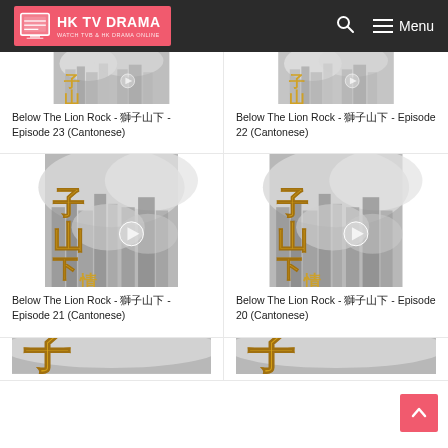HK TV DRAMA — WATCH TVB & HK DRAMA ONLINE
[Figure (screenshot): Thumbnail for Below The Lion Rock Episode 23 - grey cityscape with Chinese golden calligraphy]
Below The Lion Rock - 獅子山下 - Episode 23 (Cantonese)
[Figure (screenshot): Thumbnail for Below The Lion Rock Episode 22 - grey cityscape with Chinese golden calligraphy]
Below The Lion Rock - 獅子山下 - Episode 22 (Cantonese)
[Figure (screenshot): Thumbnail for Below The Lion Rock Episode 21 - grey cityscape with Chinese golden calligraphy]
Below The Lion Rock - 獅子山下 - Episode 21 (Cantonese)
[Figure (screenshot): Thumbnail for Below The Lion Rock Episode 20 - grey cityscape with Chinese golden calligraphy]
Below The Lion Rock - 獅子山下 - Episode 20 (Cantonese)
[Figure (screenshot): Partially visible thumbnail at bottom row]
[Figure (screenshot): Partially visible thumbnail at bottom row]